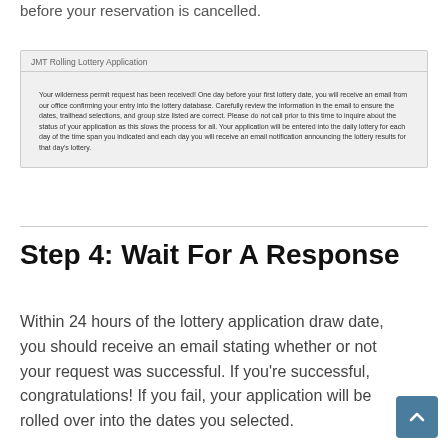before your reservation is cancelled.
[Figure (screenshot): Screenshot of JMT Rolling Lottery Application confirmation message stating that the wilderness permit request has been received and explaining the lottery process.]
Step 4: Wait For A Response
Within 24 hours of the lottery application draw date, you should receive an email stating whether or not your request was successful. If you're successful, congratulations! If you fail, your application will be rolled over into the dates you selected.